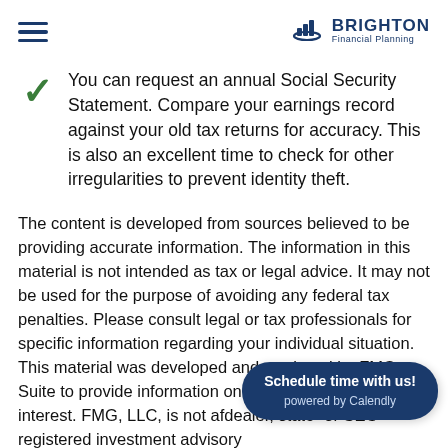Brighton Financial Planning
You can request an annual Social Security Statement. Compare your earnings record against your old tax returns for accuracy. This is also an excellent time to check for other irregularities to prevent identity theft.
The content is developed from sources believed to be providing accurate information. The information in this material is not intended as tax or legal advice. It may not be used for the purpose of avoiding any federal tax penalties. Please consult legal or tax professionals for specific information regarding your individual situation. This material was developed and produced by FMG Suite to provide information on a topic that may be of interest. FMG, LLC, is not af... dealer, state- or SEC-registered investment advisory